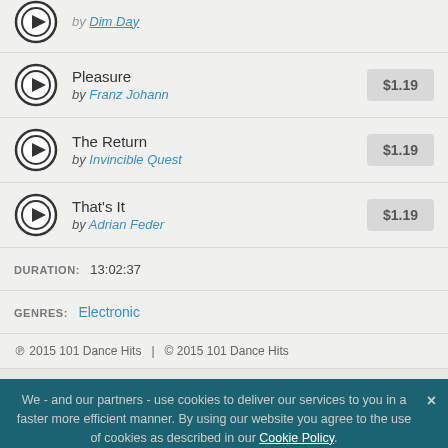Pleasure by Franz Johann $1.19
The Return by Invincible Quest $1.19
That's It by Adrian Feder $1.19
DURATION: 13:02:37
GENRES: Electronic
℗ 2015 101 Dance Hits | © 2015 101 Dance Hits
We - and our partners - use cookies to deliver our services to you in a faster more efficient manner. By using our website you agree to the use of cookies as described in our Cookie Policy.
7digital  Corporate  Ca...  Legal / Cookie Policy  Help